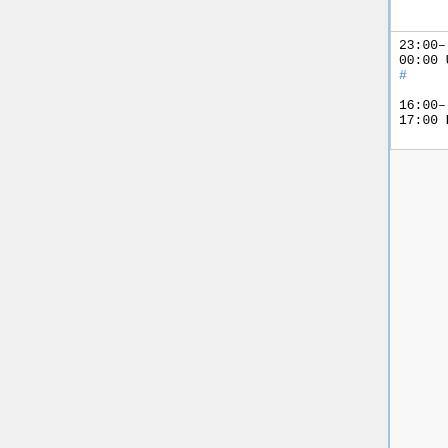| Time | Component | Deployer |
| --- | --- | --- |
| 23:00–00:00 UTC #
16:00–17:00 PDT | Evening SWAT
(Max 8 patches) | Roan (RoanKattouw), Chad (ostrich), Alex (Krenairi), (MaxSem), Adam (awight), or Sébastien (Dereckson) |
Week of June 27th
Week of:
...
By day
| Time | Component | Deployer |
| --- | --- | --- |
| Monday, June 27 |  |  |
| 15:00– |  | Brad (anomie) |